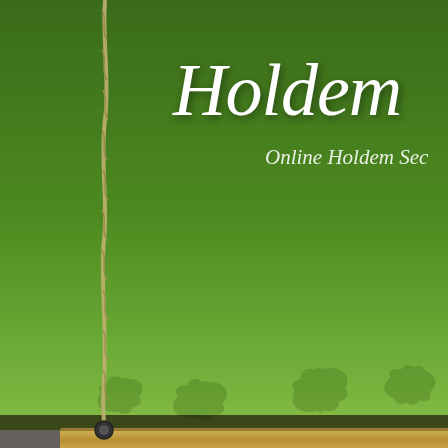[Figure (screenshot): Website header with green background, decorative leaf pattern, white italic site title 'Holdem' partially visible, subtitle 'Online Holdem Sec...' partially visible, wooden plank navigation bar with ropes, showing 'Home - Subscribe to RSS' links]
Holdem
Online Holdem Sec
Betting on Texas Holdem Poker O
Posted by Angelique | Posted in Holdem | Posted on 31-03-2016
Poker is a popular game that has a following comprising of millions